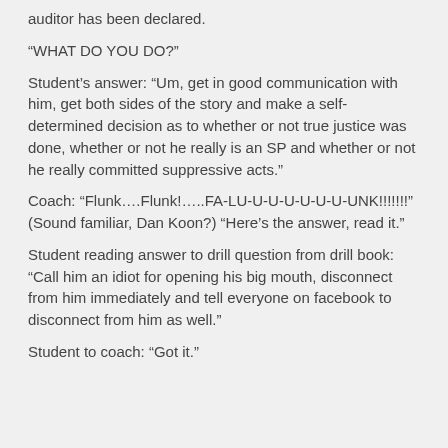auditor has been declared.
“WHAT DO YOU DO?”
Student’s answer: “Um, get in good communication with him, get both sides of the story and make a self-determined decision as to whether or not true justice was done, whether or not he really is an SP and whether or not he really committed suppressive acts.”
Coach: “Flunk….Flunk!…..FA-LU-U-U-U-U-U-U-UNK!!!!!!!” (Sound familiar, Dan Koon?) “Here’s the answer, read it.”
Student reading answer to drill question from drill book: “Call him an idiot for opening his big mouth, disconnect from him immediately and tell everyone on facebook to disconnect from him as well.”
Student to coach: “Got it.”